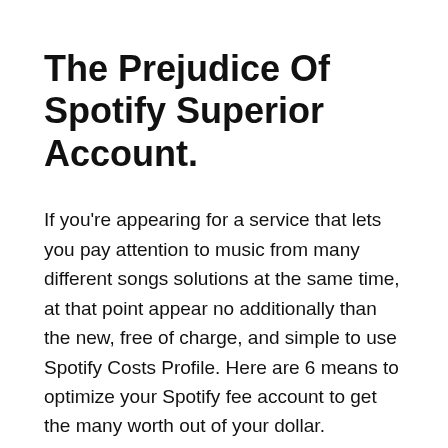The Prejudice Of Spotify Superior Account.
If you're appearing for a service that lets you pay attention to music from many different songs solutions at the same time, at that point appear no additionally than the new, free of charge, and simple to use Spotify Costs Profile. Here are 6 means to optimize your Spotify fee account to get the many worth out of your dollar.
Participate in Popular Music While You Travel With a subscription plan toSpotify, you may